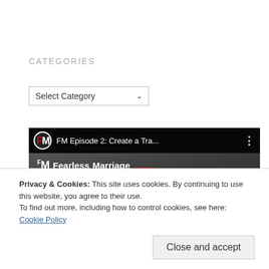CATEGORIES
[Figure (screenshot): Select Category dropdown box]
CREATE A TRANSPARENT MARRIAGE
[Figure (screenshot): YouTube video embed thumbnail: FM Episode 2: Create a Tra... - FM Fearless Marriage, with play button]
Privacy & Cookies: This site uses cookies. By continuing to use this website, you agree to their use.
To find out more, including how to control cookies, see here: Cookie Policy
Close and accept